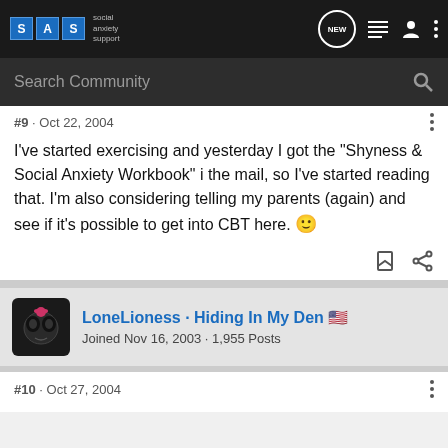SAS - Social Anxiety Support - navigation bar with search
#9 · Oct 22, 2004
I've started exercising and yesterday I got the "Shyness & Social Anxiety Workbook" i the mail, so I've started reading that. I'm also considering telling my parents (again) and see if it's possible to get into CBT here. 🙂
LoneLioness · Hiding In My Den 🇺🇸
Joined Nov 16, 2003 · 1,955 Posts
#10 · Oct 27, 2004